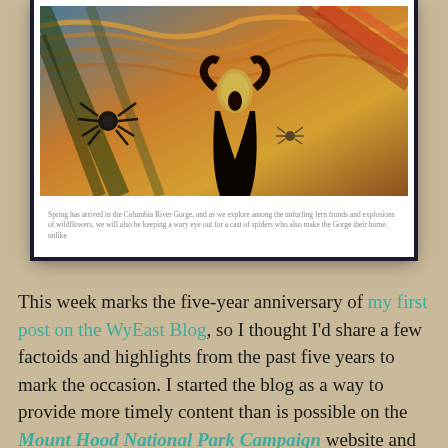[Figure (illustration): Partial view of a framed painting showing The Scream by Edvard Munch with a spider overlay graphic, displayed in a white frame. Below the painting is a caption about Spring in the Columbia River Gorge.]
Spring has arrived in the Columbia River Gorge, and as we explore among the unfurling fern fronds and explosions of wildflowers, we will also be keeping a wary eye out for a cast of spiders who also make the Gorge their home. unlike
This week marks the five-year anniversary of my first post on the WyEast Blog, so I thought I'd share a few factoids and highlights from the past five years to mark the occasion. I started the blog as a way to provide more timely content than is possible on the Mount Hood National Park Campaign website and as a way to more actively champion the idea to anyone willing to read the articles!